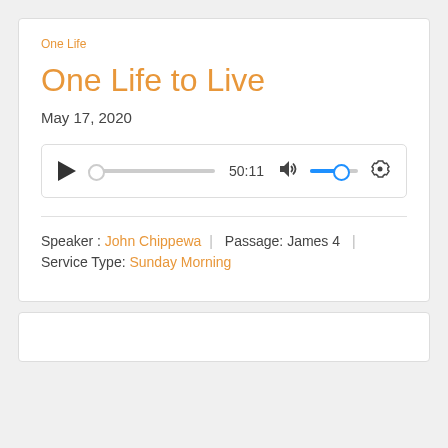One Life
One Life to Live
May 17, 2020
[Figure (other): Audio player widget showing play button, progress bar, timestamp 50:11, volume control with blue fill, and settings gear icon]
Speaker : John Chippewa | Passage: James 4 | Service Type: Sunday Morning